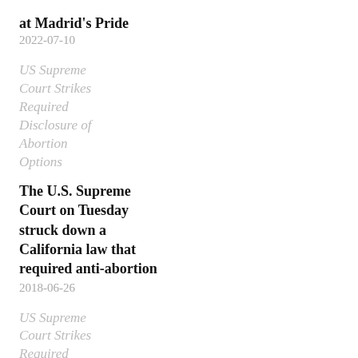at Madrid's Pride
2022-07-10
US Supreme Court Strikes Required Disclosure of Abortion Options
The U.S. Supreme Court on Tuesday struck down a California law that required anti-abortion
2018-06-26
US Supreme Court Strikes Required